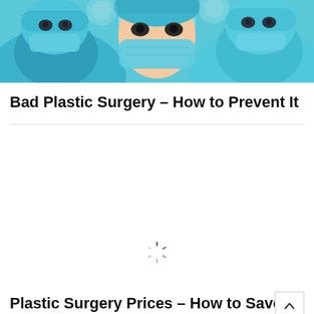[Figure (photo): Medical professionals in teal surgical scrubs and masks viewed from below, operating room setting with surgical lights]
Bad Plastic Surgery – How to Prevent It
[Figure (other): Loading spinner / throbber icon]
Plastic Surgery Prices – How to Save Money and Get the Best Deal